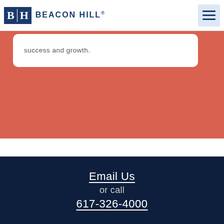[Figure (logo): Beacon Hill logo with blue square containing letters B and H, followed by BEACON HILL text]
success and growth.
Email Us
or call
617-326-4000